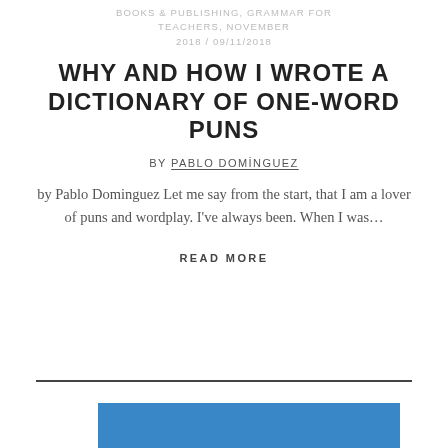BOOKS & PUBLISHING, GRAMMAR FOR TEACHERS, NOVEMBER 2018 / 09/11/2018
WHY AND HOW I WROTE A DICTIONARY OF ONE-WORD PUNS
BY PABLO DOMİNGUEZ
by Pablo Dominguez Let me say from the start, that I am a lover of puns and wordplay. I've always been. When I was…
READ MORE
[Figure (photo): Blue rectangle image at bottom of page]